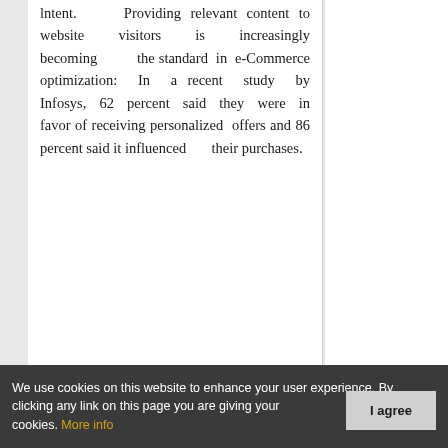lntent. Providing relevant content to website visitors is increasingly becoming the standard in e-Commerce optimization: In a recent study by Infosys, 62 percent said they were in favor of receiving personalized offers and 86 percent said it influenced their purchases.
We use cookies on this website to enhance your user experience. By clicking any link on this page you are giving your consent for us to set cookies. More info